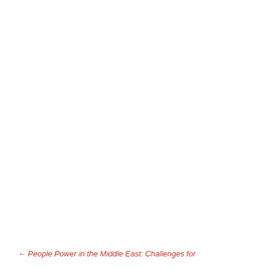← People Power in the Middle East: Challenges for